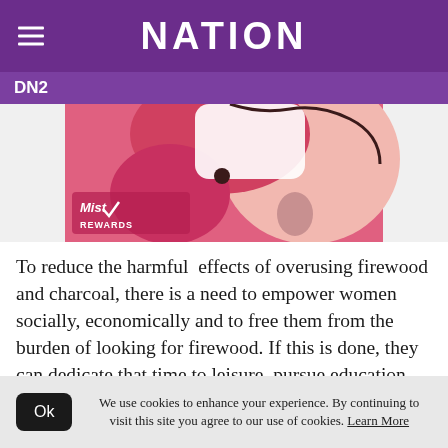NATION
DN2
[Figure (illustration): Illustration showing a cartoon-style woman with pink background and a 'Mist Rewards' logo overlay]
To reduce the harmful effects of overusing firewood and charcoal, there is a need to empower women socially, economically and to free them from the burden of looking for firewood. If this is done, they can dedicate that time to leisure, pursue education and
We use cookies to enhance your experience. By continuing to visit this site you agree to our use of cookies. Learn More